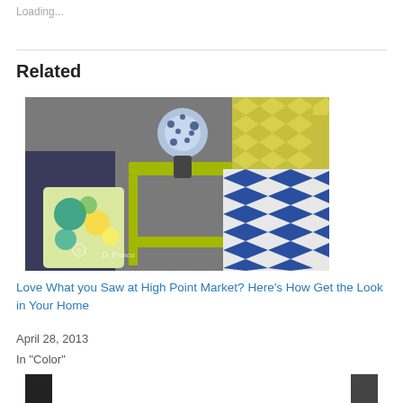Loading...
Related
[Figure (photo): Interior design photo showing a yellow-green side table, a blue and white chevron fabric chair, a colorful floral pillow, and a blue and white patterned lamp. Watermark reads D. Frasca.]
Love What you Saw at High Point Market? Here’s How Get the Look in Your Home
April 28, 2013
In “Color”